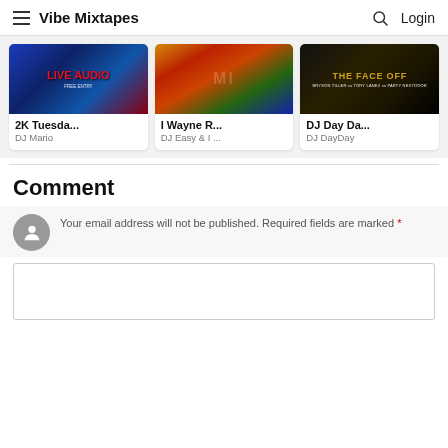Vibe Mixtapes | Login
[Figure (photo): 2K Tuesday mixtape cover - blue background with red LIVE AUDIO text]
2K Tuesda...
DJ Mario
[Figure (photo): I Wayne R mixtape cover - colorful rapper photo]
I Wayne R...
DJ Easy & I ...
[Figure (photo): DJ Day Da - The Face Off cover - Bryson Tiller vs Tory Lanez vs Party Nextdoor]
DJ Day Da...
DJ DayDay
Comment
Your email address will not be published. Required fields are marked *